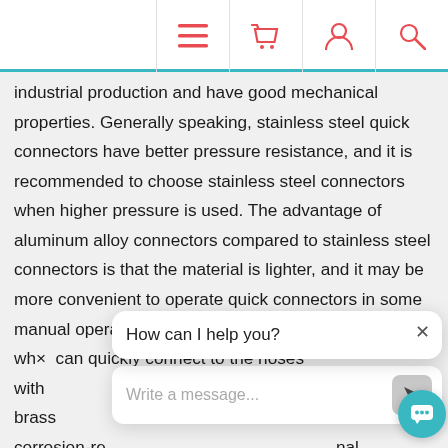Navigation bar with menu, basket, user, and search icons
industrial production and have good mechanical properties. Generally speaking, stainless steel quick connectors have better pressure resistance, and it is recommended to choose stainless steel connectors when higher pressure is used. The advantage of aluminum alloy connectors compared to stainless steel connectors is that the material is lighter, and it may be more convenient to operate quick connectors in some manual operations. ATO provides quick connectors wh can quickly connect to the hoses with and has a male connector with brass corrosion-re nal 03/04/06/23m sealed quick connect fittings are designed for water and air.
[Figure (screenshot): Chat widget overlay with 'How can I help you?' message bubble and 'Write a message...' input field with send button, and teal chat icon button]